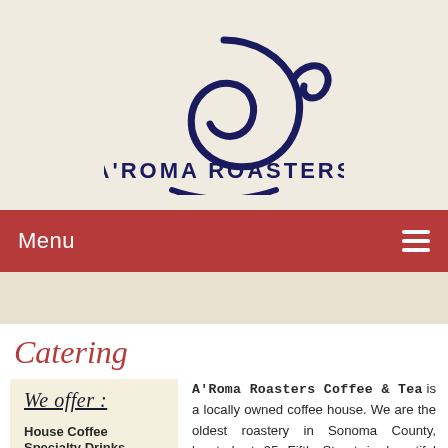[Figure (logo): A'Roma Roasters logo — dark navy spiral swirl above the text 'A'ROMA ROASTERS' in navy block letters]
Menu ☰
Catering
We offer :
House Coffee Specialty Drinks
Cappuccino
A'Roma Roasters Coffee & Tea is a locally owned coffee house. We are the oldest roastery in Sonoma County, located at 95 Fifth Street in beautiful Historic Railroad Square in the City of Santa Rosa, California.
We care about each other, our products, and